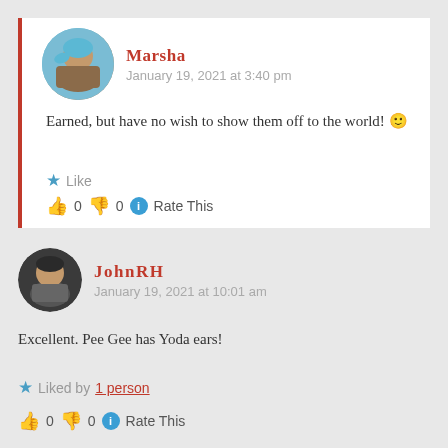Marsha
January 19, 2021 at 3:40 pm
Earned, but have no wish to show them off to the world! 🙂
★ Like
👍 0 👎 0 ℹ Rate This
JohnRH
January 19, 2021 at 10:01 am
Excellent. Pee Gee has Yoda ears!
★ Liked by 1 person
👍 0 👎 0 ℹ Rate This